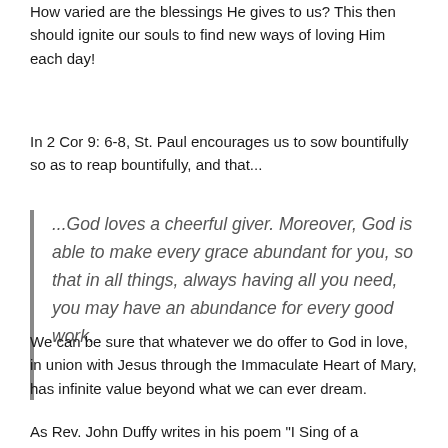How varied are the blessings He gives to us? This then should ignite our souls to find new ways of loving Him each day!
In 2 Cor 9: 6-8, St. Paul encourages us to sow bountifully so as to reap bountifully, and that...
...God loves a cheerful giver. Moreover, God is able to make every grace abundant for you, so that in all things, always having all you need, you may have an abundance for every good work.
We can be sure that whatever we do offer to God in love, in union with Jesus through the Immaculate Heart of Mary, has infinite value beyond what we can ever dream.
As Rev. John Duffy writes in his poem "I Sing of a Maiden,"